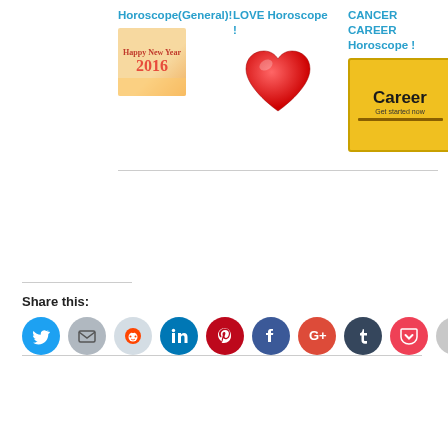Horoscope(General)!
[Figure (photo): New Year 2016 decorative image]
LOVE Horoscope!
[Figure (illustration): Red heart emoji]
CANCER CAREER Horoscope!
[Figure (photo): Career road sign - yellow sign reading Career Get started now]
Share this: